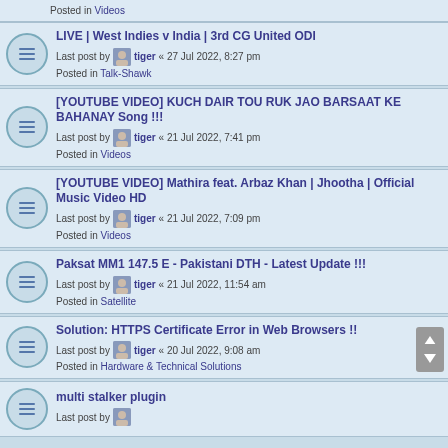Posted in Videos
LIVE | West Indies v India | 3rd CG United ODI — Last post by tiger « 27 Jul 2022, 8:27 pm — Posted in Talk-Shawk
[YOUTUBE VIDEO] KUCH DAIR TOU RUK JAO BARSAAT KE BAHANAY Song !!! — Last post by tiger « 21 Jul 2022, 7:41 pm — Posted in Videos
[YOUTUBE VIDEO] Mathira feat. Arbaz Khan | Jhootha | Official Music Video HD — Last post by tiger « 21 Jul 2022, 7:09 pm — Posted in Videos
Paksat MM1 147.5 E - Pakistani DTH - Latest Update !!! — Last post by tiger « 21 Jul 2022, 11:54 am — Posted in Satellite
Solution: HTTPS Certificate Error in Web Browsers !! — Last post by tiger « 20 Jul 2022, 9:08 am — Posted in Hardware & Technical Solutions
multi stalker plugin — Last post by ...